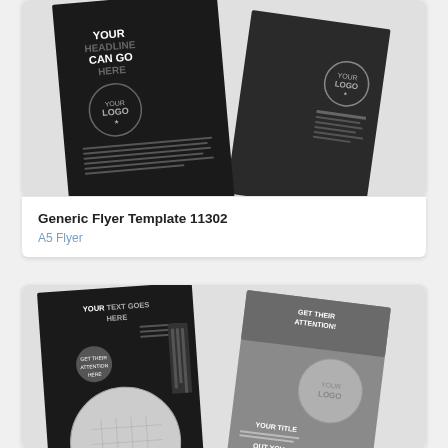[Figure (illustration): Two dark-themed A5 flyer templates overlapping, showing placeholder text 'YOUR HEADLINE CAN GO HERE' and 'YOUR LOGO' on black background with white text]
Generic Flyer Template 11302
A5 Flyer
[Figure (illustration): Two dark grey/black A5 flyer templates overlapping, showing placeholder text 'YOUR TEXT GOES HERE', 'GET THEIR ATTENTION!', 'YOUR LOGO', 'YOUR TITLE', 'OUT YOU' with circular logo placeholder]